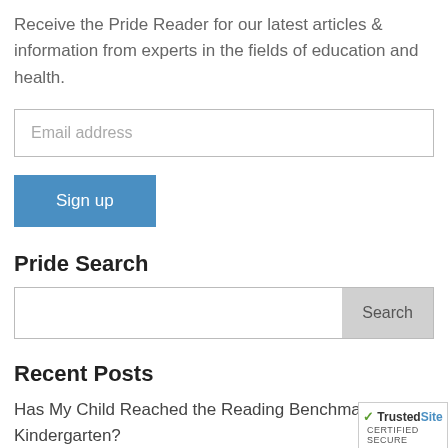Receive the Pride Reader for our latest articles & information from experts in the fields of education and health.
[Figure (other): Email address input field with placeholder text 'Email address']
[Figure (other): Sign up button (blue)]
Pride Search
[Figure (other): Search input field with Search button]
Recent Posts
Has My Child Reached the Reading Benchmarks for Kindergarten?
[Figure (logo): TrustedSite CERTIFIED SECURE badge]